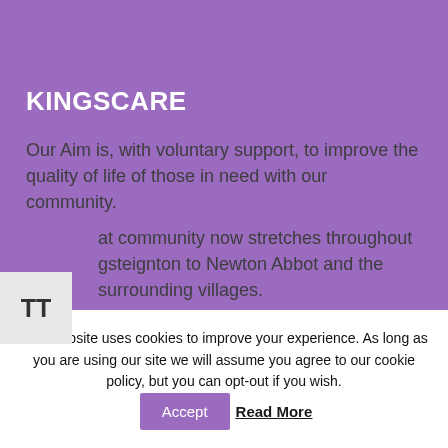KINGSCARE
Our Aim is, with voluntary support, to improve the quality of life of those in need with our community.
That community now stretches throughout Kingsteignton to Newton Abbot and the surrounding villages.
Registered CIO – 1174450
This website uses cookies to improve your experience. As long as you are using our site we will assume you agree to our cookie policy, but you can opt-out if you wish.